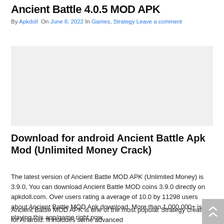Ancient Battle 4.0.5 MOD APK
By Apkdoll On June 8, 2022 In Games, Strategy Leave a comment
[Figure (other): Advertisement placeholder / blank area]
Download for android Ancient Battle Apk Mod (Unlimited Money Crack)
The latest version of Ancient Battle MOD APK (Unlimited Money) is 3.9.0, You can download Ancient Battle MOD coins 3.9.0 directly on apkdoll.com. Over users rating a average of 10.0 by 11298 users about Ancient Battle MOD Apk download. More than 1,000,000+ is playing this app/game right now.
Ancient Battle MOD APK is one of the most popular Strategy created for Android. It includes some advanced